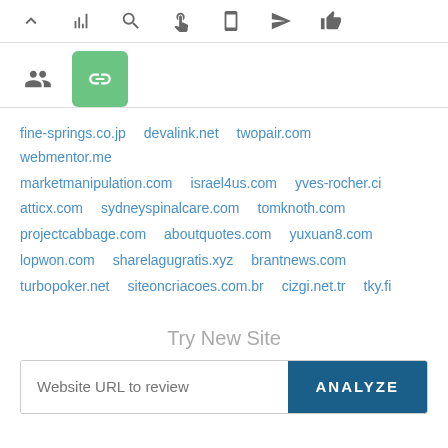[Figure (other): App toolbar with icons: up arrow, bar chart, search, cursor, mobile, send/navigate, thumbs up]
[Figure (other): Sub-toolbar with people icon and active green link icon]
fine-springs.co.jp  devalink.net  twopair.com  webmentor.me  marketmanipulation.com  israel4us.com  yves-rocher.ci  atticx.com  sydneyspinalcare.com  tomknoth.com  projectcabbage.com  aboutquotes.com  yuxuan8.com  lopwon.com  sharelagugratis.xyz  brantnews.com  turbopoker.net  siteoncriacoes.com.br  cizgi.net.tr  tky.fi
Try New Site
Website URL to review
ANALYZE